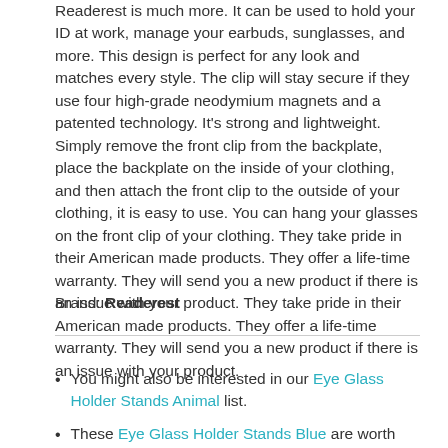Readerest is much more. It can be used to hold your ID at work, manage your earbuds, sunglasses, and more. This design is perfect for any look and matches every style. The clip will stay secure if they use four high-grade neodymium magnets and a patented technology. It's strong and lightweight. Simply remove the front clip from the backplate, place the backplate on the inside of your clothing, and then attach the front clip to the outside of your clothing, it is easy to use. You can hang your glasses on the front clip of your clothing. They take pride in their American made products. They offer a life-time warranty. They will send you a new product if there is an issue with your product. They take pride in their American made products. They offer a life-time warranty. They will send you a new product if there is an issue with your product.
Brand: Readerest
You might also be interested in our Eye Glass Holder Stands Animal list.
These Eye Glass Holder Stands Blue are worth investigating.